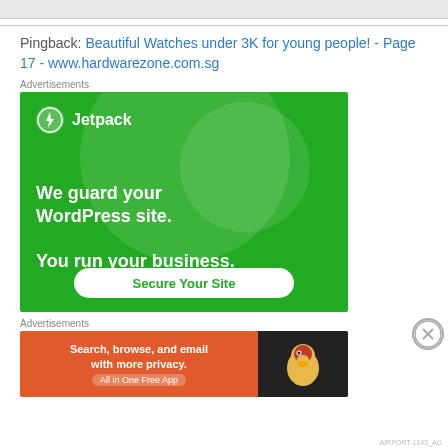Pingback: Beautiful Watches under 3K for young people! - Page 17 - www.hardwarezone.com.sg
[Figure (other): Jetpack advertisement banner. Green background with large decorative circles. Jetpack logo (lightning bolt in circle) with text 'Jetpack'. Main text: 'We guard your WordPress site. You run your business.' White CTA button: 'Secure Your Site']
[Figure (other): DuckDuckGo advertisement banner with orange/red background. Text: 'Search, browse, and email with more privacy.' Sub-text: 'All in One Free App'. DuckDuckGo duck logo on dark right panel.]